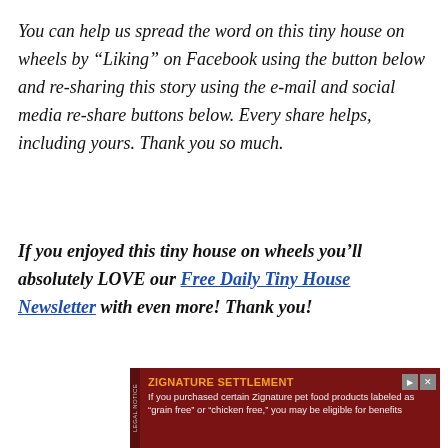You can help us spread the word on this tiny house on wheels by “Liking” on Facebook using the button below and re-sharing this story using the e-mail and social media re-share buttons below. Every share helps, including yours. Thank you so much.
If you enjoyed this tiny house on wheels you’ll absolutely LOVE our Free Daily Tiny House Newsletter with even more! Thank you!
[Figure (other): Advertisement banner for Zignature Settlement. Dark red background with orange bold title 'ZIGNATURE SETTLEMENT', play and close buttons top right, legal notice text on left side rotated vertically. Body text reads: 'If you purchased certain Zignature pet food products labeled as “grain free” or “chicken free,” you may be eligible for benefits']